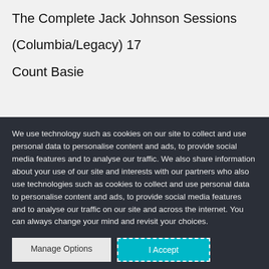The Complete Jack Johnson Sessions
(Columbia/Legacy) 17
Count Basie
We use technology such as cookies on our site to collect and use personal data to personalise content and ads, to provide social media features and to analyse our traffic. We also share information about your use of our site and interests with our partners who also use technologies such as cookies to collect and use personal data to personalise content and ads, to provide social media features and to analyse our traffic on our site and across the internet. You can always change your mind and revisit your choices.
Manage Options
I Accept